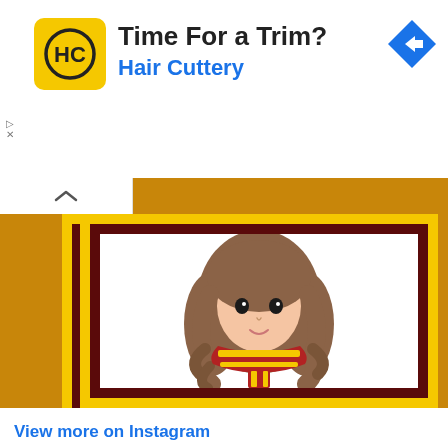[Figure (infographic): Hair Cuttery advertisement banner with yellow square logo showing HC monogram, title 'Time For a Trim?', subtitle 'Hair Cuttery', and blue diamond navigation arrow icon on right]
[Figure (illustration): Cartoon chibi-style illustration of Hermione Granger from Harry Potter with wavy brown hair and red-and-yellow striped Gryffindor scarf, inside a frame with gold outer border and dark maroon inner border on a golden/amber background]
View more on Instagram